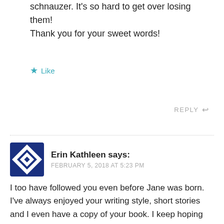schnauzer. It's so hard to get over losing them! Thank you for your sweet words!
★ Like
REPLY ↩
Erin Kathleen says: FEBRUARY 5, 2018 AT 5:23 PM
I too have followed you even before Jane was born. I've always enjoyed your writing style, short stories and I even have a copy of your book. I keep hoping you will release more. Thank you for sharing your journey!